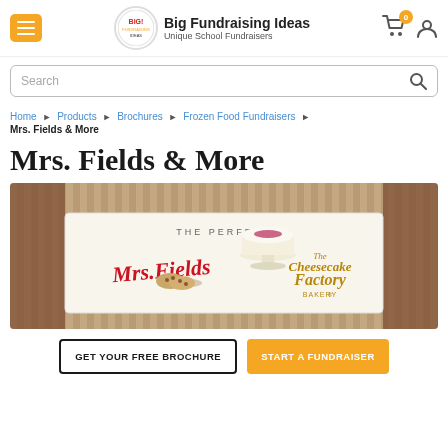Big Fundraising Ideas — Unique School Fundraisers
Search
Home ▶ Products ▶ Brochures ▶ Frozen Food Fundraisers ▶
Mrs. Fields & More
Mrs. Fields & More
[Figure (photo): Product banner showing Mrs. Fields and The Cheesecake Factory Bakery logos with baked goods — a cheesecake on a pedestal and cookies — on a cream/beige striped background. Text reads 'THE PERFECT' at top.]
GET YOUR FREE BROCHURE   START A FUNDRAISER